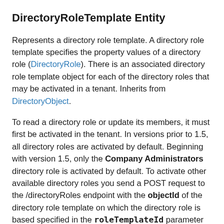DirectoryRoleTemplate Entity
Represents a directory role template. A directory role template specifies the property values of a directory role (DirectoryRole). There is an associated directory role template object for each of the directory roles that may be activated in a tenant. Inherits from DirectoryObject.
To read a directory role or update its members, it must first be activated in the tenant. In versions prior to 1.5, all directory roles are activated by default. Beginning with version 1.5, only the Company Administrators directory role is activated by default. To activate other available directory roles you send a POST request to the /directoryRoles endpoint with the objectId of the directory role template on which the directory role is based specified in the roleTemplateId parameter of the request. For more information see DirectoryRole.